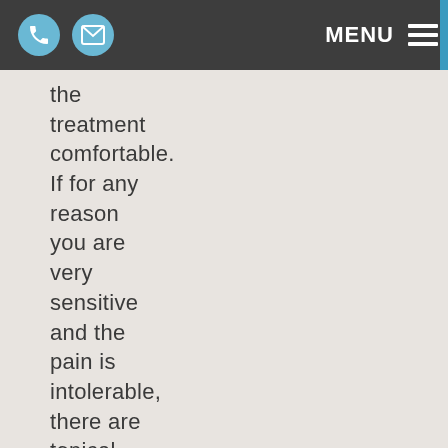MENU
the treatment comfortable. If for any reason you are very sensitive and the pain is intolerable, there are topical anaesthetic creams that can be used.
WHAT